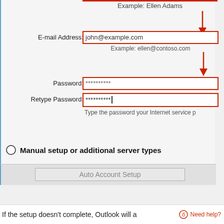[Figure (screenshot): Outlook Auto Account Setup dialog showing form fields: E-mail Address with 'john@example.com' entered and example hint 'Example: ellen@contoso.com', Password field with asterisks, Retype Password field with asterisks and cursor, hint text 'Type the password your Internet service p', Manual setup or additional server types radio option, Auto Account Setup button, and red annotation arrows pointing to fields.]
Example: Ellen Adams
E-mail Address:
john@example.com
Example: ellen@contoso.com
Password:
**********
Retype Password:
**********
Type the password your Internet service p
Manual setup or additional server types
Auto Account Setup
If the setup doesn't complete, Outlook will a
Need help?